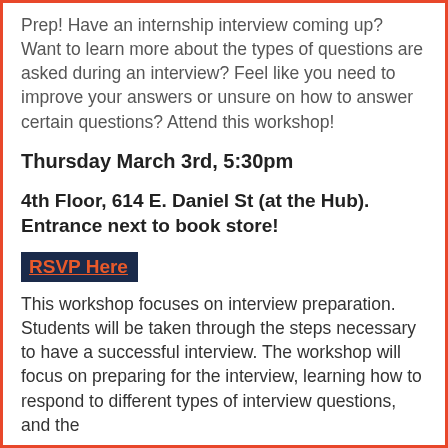Prep! Have an internship interview coming up? Want to learn more about the types of questions are asked during an interview? Feel like you need to improve your answers or unsure on how to answer certain questions? Attend this workshop!
Thursday March 3rd, 5:30pm
4th Floor, 614 E. Daniel St (at the Hub). Entrance next to book store!
RSVP Here
This workshop focuses on interview preparation. Students will be taken through the steps necessary to have a successful interview. The workshop will focus on preparing for the interview, learning how to respond to different types of interview questions, and the